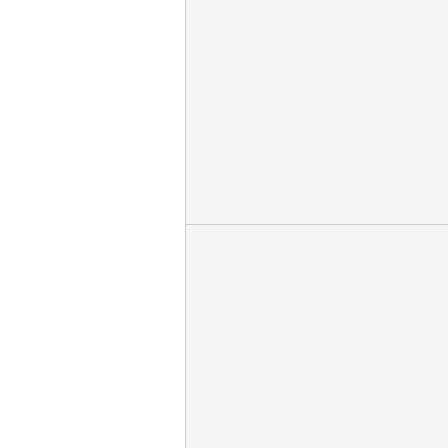[Figure (photo): Top-right image panel, mostly blank/light gray, appears to show a product image (Hermann Weiss item, 1923)]
Original Hermann Weis 1923 **SOLD**
[Figure (photo): Bottom-right image panel, mostly blank/light gray, appears to show a product image (Hermann Weiss item, 1924)]
Original Hermann Weis 1924 *SOLD*